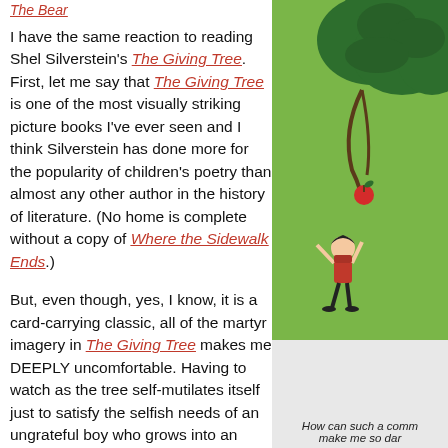The Bear
I have the same reaction to reading Shel Silverstein's The Giving Tree. First, let me say that The Giving Tree is one of the most visually striking picture books I've ever seen and I think Silverstein has done more for the popularity of children's poetry than almost any other author in the history of literature. (No home is complete without a copy of Where the Sidewalk Ends.)
But, even though, yes, I know, it is a card-carrying classic, all of the martyr imagery in The Giving Tree makes me DEEPLY uncomfortable. Having to watch as the tree self-mutilates itself just to satisfy the selfish needs of an ungrateful boy who grows into an
[Figure (illustration): Illustration from The Giving Tree showing a child reaching up toward apple tree branches on a green background]
How can such a comm make me so dar